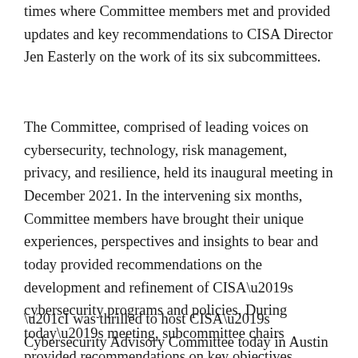times where Committee members met and provided updates and key recommendations to CISA Director Jen Easterly on the work of its six subcommittees.
The Committee, comprised of leading voices on cybersecurity, technology, risk management, privacy, and resilience, held its inaugural meeting in December 2021. In the intervening six months, Committee members have brought their unique experiences, perspectives and insights to bear and today provided recommendations on the development and refinement of CISA’s cybersecurity programs and policies. During today’s meeting, subcommittee chairs provided recommendations on key objectives outlined by the Director during the Committee’s inaugural meeting.
“I was thrilled to host CISA’s Cybersecurity Advisory Committee today in Austin to discuss the